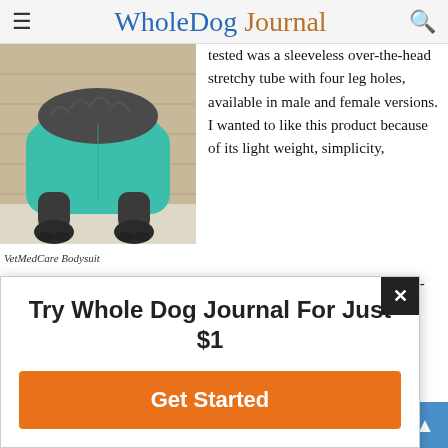Whole Dog Journal
[Figure (photo): A dog wearing a teal/turquoise VetMedCare bodysuit, showing the rear legs and back end of the dog standing on a light floor near a wooden wall]
VetMedCare Bodysuit
tested was a sleeveless over-the-head stretchy tube with four leg holes, available in male and female versions. I wanted to like this product because of its light weight, simplicity, and long sleeve/sleeveless models. But I question the product's long-term durability; after one laundering in cool
Try Whole Dog Journal For Just $1
Get Started